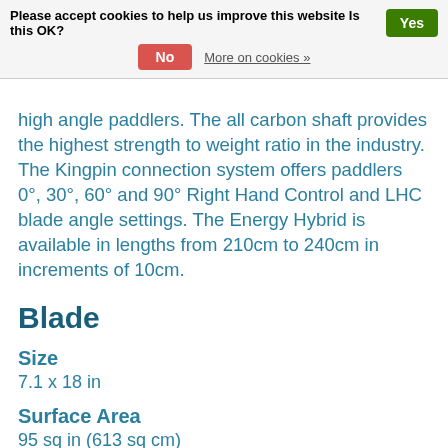Please accept cookies to help us improve this website Is this OK? Yes | No | More on cookies »
high angle paddlers. The all carbon shaft provides the highest strength to weight ratio in the industry. The Kingpin connection system offers paddlers 0°, 30°, 60° and 90° Right Hand Control and LHC blade angle settings. The Energy Hybrid is available in lengths from 210cm to 240cm in increments of 10cm.
Blade
Size
7.1 x 18 in
Surface Area
95 sq in (613 sq cm)
Blade Material
FR Nylon